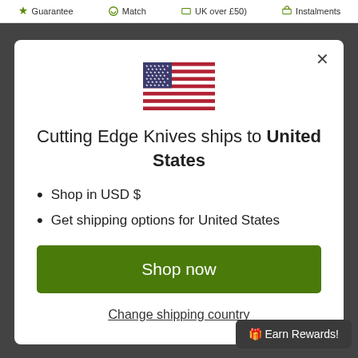Guarantee  Match  UK over £50)  Instalments
[Figure (illustration): US flag emoji/icon centered in modal]
Cutting Edge Knives ships to United States
Shop in USD $
Get shipping options for United States
Shop now
Change shipping country
🎁 Earn Rewards!